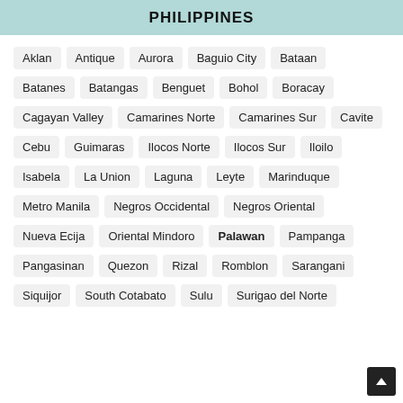PHILIPPINES
Aklan
Antique
Aurora
Baguio City
Bataan
Batanes
Batangas
Benguet
Bohol
Boracay
Cagayan Valley
Camarines Norte
Camarines Sur
Cavite
Cebu
Guimaras
Ilocos Norte
Ilocos Sur
Iloilo
Isabela
La Union
Laguna
Leyte
Marinduque
Metro Manila
Negros Occidental
Negros Oriental
Nueva Ecija
Oriental Mindoro
Palawan
Pampanga
Pangasinan
Quezon
Rizal
Romblon
Sarangani
Siquijor
South Cotabato
Sulu
Surigao del Norte